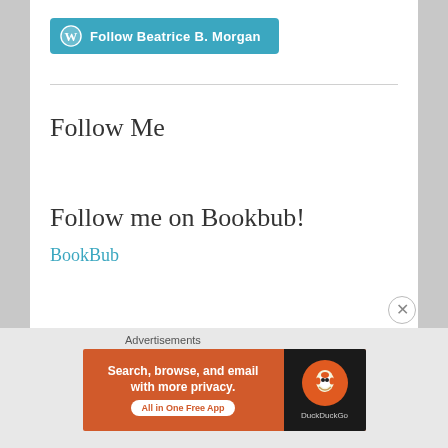[Figure (logo): WordPress Follow button: blue-green rounded button with WordPress W icon and text 'Follow Beatrice B. Morgan' in white bold text]
Follow Me
Follow me on Bookbub!
BookBub
Advertisements
[Figure (screenshot): DuckDuckGo advertisement banner: orange background with text 'Search, browse, and email with more privacy. All in One Free App' and DuckDuckGo logo on dark right panel]